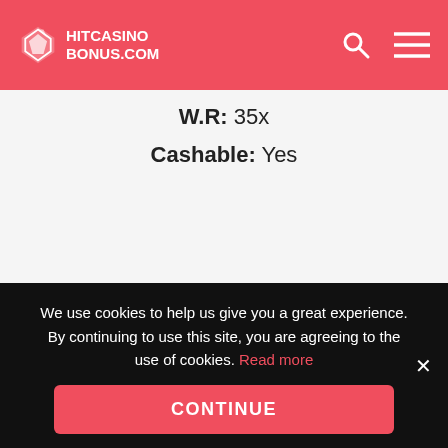HITCASINOBONUS.COM
W.R: 35x
Cashable: Yes
Review
Visit
We use cookies to help us give you a great experience. By continuing to use this site, you are agreeing to the use of cookies. Read more
CONTINUE